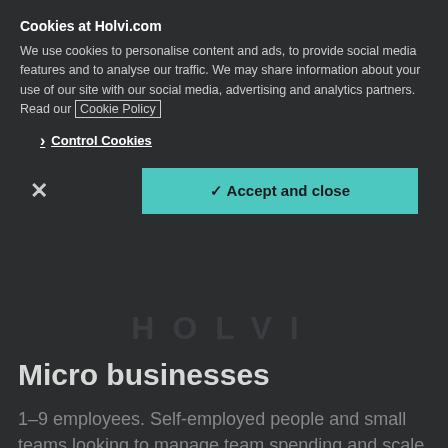Cookies at Holvi.com
We use cookies to personalise content and ads, to provide social media features and to analyse our traffic. We may share information about your use of our site with our social media, advertising and analytics partners. Read our Cookie Policy
> Control Cookies
✓ Accept and close
×
[Figure (logo): Holvi logo text rendered in dark decorative font]
Micro businesses
1–9 employees. Self-employed people and small teams looking to manage team spending and scale smart.